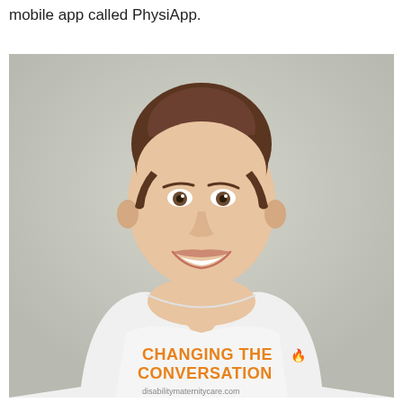mobile app called PhysiApp.
[Figure (photo): A smiling young woman with dark hair pulled back, wearing a white t-shirt that reads 'CHANGING THE CONVERSATION' in orange letters with 'disabilitymaternitycare.com' below in smaller text, photographed against a light grey background.]